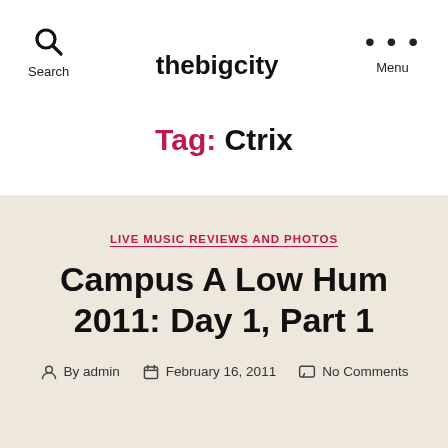Search | thebigcity | Menu
Tag: Ctrix
LIVE MUSIC REVIEWS AND PHOTOS
Campus A Low Hum 2011: Day 1, Part 1
By admin | February 16, 2011 | No Comments